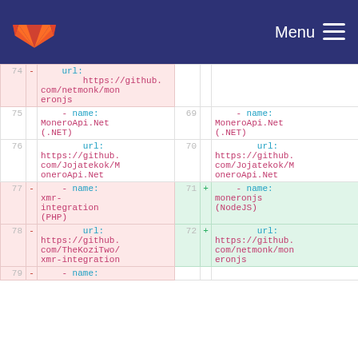GitLab navigation bar with Menu
| line-old | sign | code-old | line-new | sign | code-new |
| --- | --- | --- | --- | --- | --- |
| 74 | - |     url:
        https://github.com/netmonk/moneronjs |  |  |  |
| 75 |  |     - name: MoneroApi.Net (.NET) | 69 |  |     - name: MoneroApi.Net (.NET) |
| 76 |  |         url:
            https://github.com/Jojatekok/MoneroApi.Net | 70 |  |         url:
            https://github.com/Jojatekok/MoneroApi.Net |
| 77 | - |     - name: xmr-integration (PHP) | 71 | + |     - name: moneronjs (NodeJS) |
| 78 | - |         url:
            https://github.com/TheKoziTwo/xmr-integration | 72 | + |         url:
            https://github.com/netmonk/moneronjs |
| 79 | - |     - name: |  |  |  |